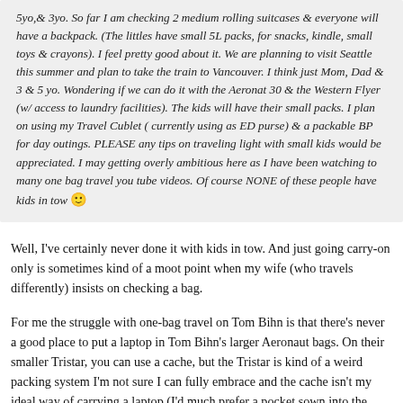5yo,& 3yo. So far I am checking 2 medium rolling suitcases & everyone will have a backpack. (The littles have small 5L packs, for snacks, kindle, small toys & crayons). I feel pretty good about it. We are planning to visit Seattle this summer and plan to take the train to Vancouver. I think just Mom, Dad & 3 & 5 yo. Wondering if we can do it with the Aeronat 30 & the Western Flyer (w/ access to laundry facilities). The kids will have their small packs. I plan on using my Travel Cublet ( currently using as ED purse) & a packable BP for day outings. PLEASE any tips on traveling light with small kids would be appreciated. I may getting overly ambitious here as I have been watching to many one bag travel you tube videos. Of course NONE of these people have kids in tow 🙂
Well, I've certainly never done it with kids in tow. And just going carry-on only is sometimes kind of a moot point when my wife (who travels differently) insists on checking a bag.
For me the struggle with one-bag travel on Tom Bihn is that there's never a good place to put a laptop in Tom Bihn's larger Aeronaut bags. On their smaller Tristar, you can use a cache, but the Tristar is kind of a weird packing system I'm not sure I can fully embrace and the cache isn't my ideal way of carrying a laptop (I'd much prefer a pocket sown into the bag).